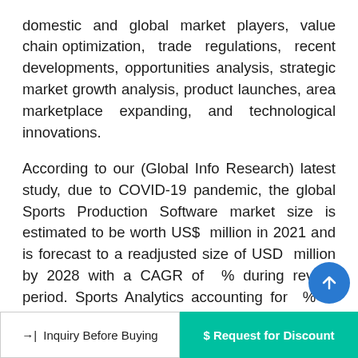domestic and global market players, value chain optimization, trade regulations, recent developments, opportunities analysis, strategic market growth analysis, product launches, area marketplace expanding, and technological innovations.
According to our (Global Info Research) latest study, due to COVID-19 pandemic, the global Sports Production Software market size is estimated to be worth US$  million in 2021 and is forecast to a readjusted size of USD  million by 2028 with a CAGR of  % during review period. Sports Analytics accounting for  % of the Sports Production Software global market in 2021, is projected to value USD  million by 2028, gro... ...% CAGR during... While Our...
Inquiry Before Buying   |   $ Request for Discount